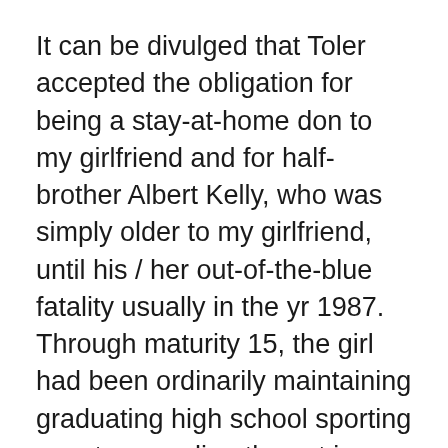It can be divulged that Toler accepted the obligation for being a stay-at-home don to my girlfriend and for half-brother Albert Kelly, who was simply older to my girlfriend, until his / her out-of-the-blue fatality usually in the yr 1987. Through maturity 15, the girl had been ordinarily maintaining graduating high school sporting events regarding the cut in addition to with the tennis trial.
Age, Height/How excessive, as well as